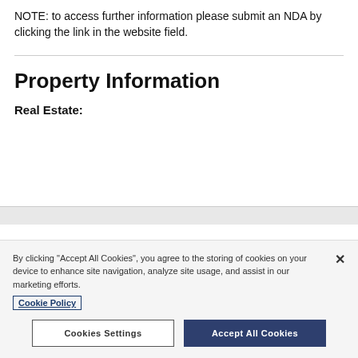NOTE: to access further information please submit an NDA by clicking the link in the website field.
Property Information
Real Estate:
By clicking "Accept All Cookies", you agree to the storing of cookies on your device to enhance site navigation, analyze site usage, and assist in our marketing efforts.
Cookie Policy
Cookies Settings
Accept All Cookies